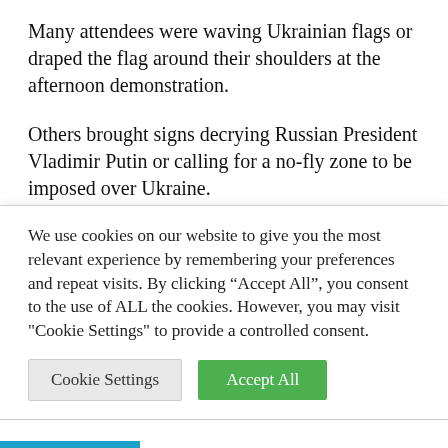Many attendees were waving Ukrainian flags or draped the flag around their shoulders at the afternoon demonstration.
Others brought signs decrying Russian President Vladimir Putin or calling for a no-fly zone to be imposed over Ukraine.
About 140,000 people of Ukrainian descent live in New York, making it the largest Ukrainian population in the
We use cookies on our website to give you the most relevant experience by remembering your preferences and repeat visits. By clicking “Accept All”, you consent to the use of ALL the cookies. However, you may visit "Cookie Settings" to provide a controlled consent.